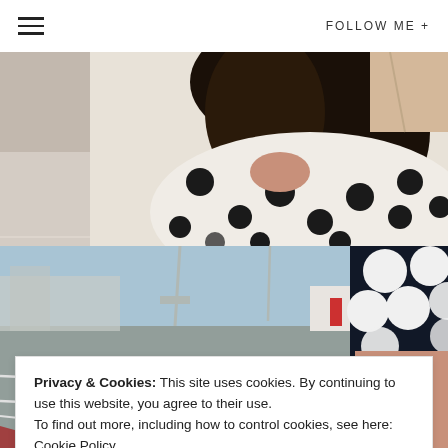FOLLOW ME +
[Figure (photo): Back view of a woman wearing a white polka-dot top with dark hair, standing outdoors on a paved surface.]
[Figure (photo): Lower body of a woman wearing black shorts with large white polka dots, standing in an outdoor parking/runway area with industrial buildings in the background.]
Privacy & Cookies: This site uses cookies. By continuing to use this website, you agree to their use.
To find out more, including how to control cookies, see here: Cookie Policy
Close and accept